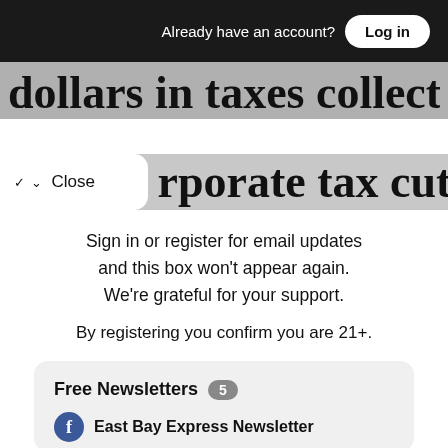Already have an account? Log in
dollars in taxes collectively, while
rporate tax cut hiked the
Sign in or register for email updates and this box won't appear again. We're grateful for your support.
By registering you confirm you are 21+.
Free Newsletters 5
East Bay Express Newsletter